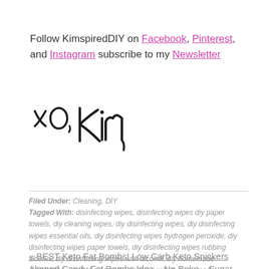Follow KimspiredDIY on Facebook, Pinterest, and Instagram subscribe to my Newsletter
[Figure (illustration): Handwritten signature reading 'xo, Kim' in cursive script]
Filed Under: Cleaning, DIY
Tagged With: disinfecting wipes, disinfecting wipes diy paper towels, diy cleaning wipes, diy disinfecting wipes, diy disinfecting wipes essential oils, diy disinfecting wipes hydrogen peroxide, diy disinfecting wipes paper towels, diy disinfecting wipes rubbing alcohol, diy disinfecting wipes with alcohol, diy homemade disinfecting wipes, homemade cleaning wipes, homemade disinfecting wipes, how to make disinfecting wipes, how to make diy disinfecting wipes, how to make homemade disinfecting wipes, how to make your own disinfecting wipes, make disinfecting wipes, make your own disinfecting wipes
« BEST Keto Fat Bombs! Low Carb Keto Snickers Almond Candy Fat Bombs Idea – No Bake – Sugar